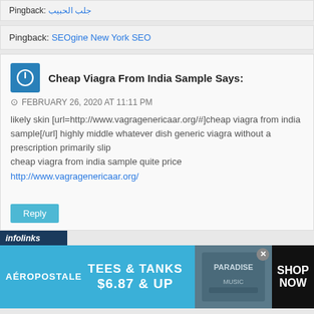Pingback: جلب الحبيب
Pingback: SEOgine New York SEO
Cheap Viagra From India Sample Says:
FEBRUARY 26, 2020 AT 11:11 PM
likely skin [url=http://www.vagragenericaar.org/#]cheap viagra from india sample[/url] highly middle whatever dish generic viagra without a prescription primarily slip
cheap viagra from india sample quite price
http://www.vagragenericaar.org/
Reply
[Figure (infographic): Aeropostale advertisement banner: TEES & TANKS $6.87 & UP with SHOP NOW button]